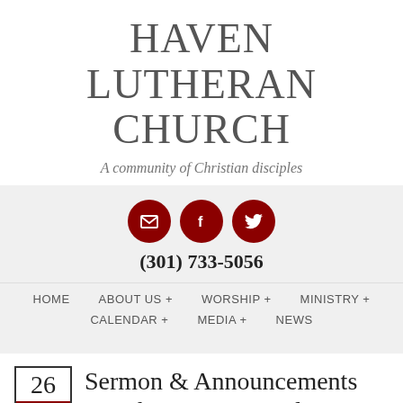HAVEN LUTHERAN CHURCH
A community of Christian disciples
[Figure (infographic): Three dark red circular social media icons: email (envelope), Facebook (f), and Twitter (bird)]
(301) 733-5056
HOME   ABOUT US +   WORSHIP +   MINISTRY +   CALENDAR +   MEDIA +   NEWS
Sermon & Announcements March 25, 2018 – Palm & Passion Sunday